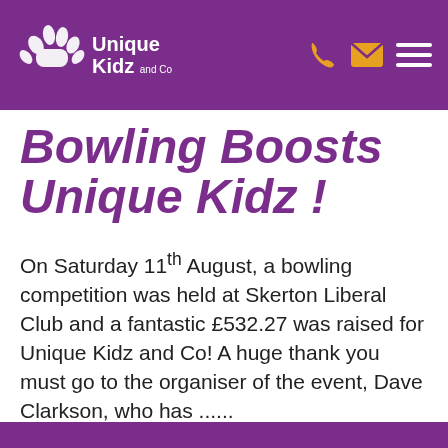Unique Kidz and Co
Bowling Boosts Unique Kidz !
On Saturday 11th August, a bowling competition was held at Skerton Liberal Club and a fantastic £532.27 was raised for Unique Kidz and Co! A huge thank you must go to the organiser of the event, Dave Clarkson, who has ......
FUNDRAISING AND EVENTS